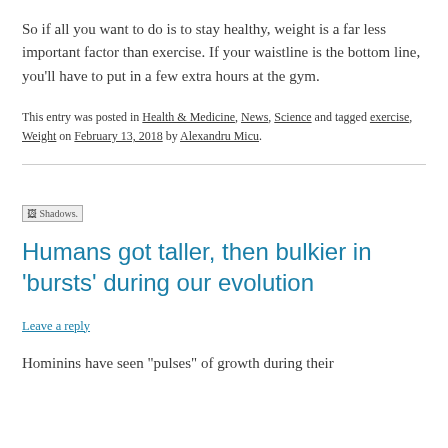So if all you want to do is to stay healthy, weight is a far less important factor than exercise. If your waistline is the bottom line, you’ll have to put in a few extra hours at the gym.
This entry was posted in Health & Medicine, News, Science and tagged exercise, Weight on February 13, 2018 by Alexandru Micu.
[Figure (illustration): Small broken image icon placeholder labeled 'Shadows.']
Humans got taller, then bulkier in ‘bursts’ during our evolution
Leave a reply
Hominins have seen “pulses” of growth during their